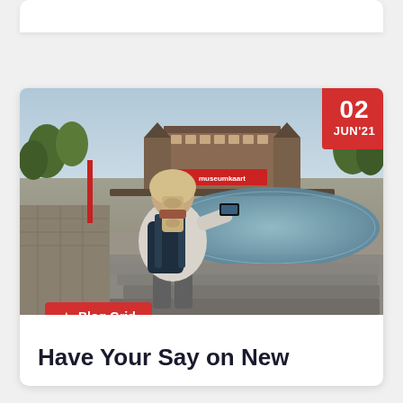[Figure (photo): Partial white card at top of page, cropped]
[Figure (photo): Photo of a woman with braided blonde hair and a dark backpack, seen from behind, holding a smartphone and photographing a fountain plaza in front of a large brick building (Rijksmuseum Amsterdam). A red date badge in the top-right corner shows '02 JUN'21'. A red label badge at the bottom-left of the photo shows a star icon and 'Blog Grid'.]
Have Your Say on New